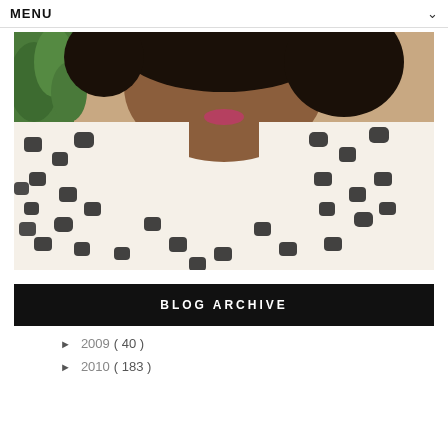MENU
[Figure (photo): Woman wearing a black and white spotted/leopard print shirt, with curly hair and green plant visible in background]
BLOG ARCHIVE
► 2009 ( 40 )
► 2010 ( 183 )